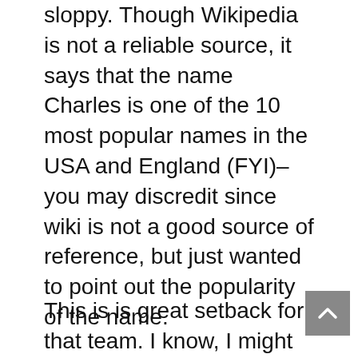sloppy. Though Wikipedia is not a reliable source, it says that the name Charles is one of the 10 most popular names in the USA and England (FYI)–you may discredit since wiki is not a good source of reference, but just wanted to point out the popularity of the name.
This is is great setback for that team. I know, I might confuse some with where I stand in regards to CT and the trial. I want to see CT go to jail, but only with genuine evidence (something he didn't give to